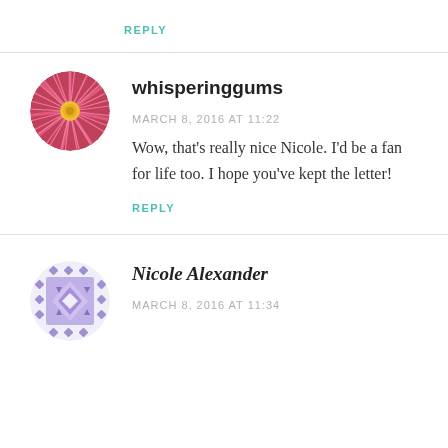REPLY
whisperinggums
MARCH 8, 2016 AT 11:22
Wow, that's really nice Nicole. I'd be a fan for life too. I hope you've kept the letter!
REPLY
Nicole Alexander
MARCH 8, 2016 AT 11:34